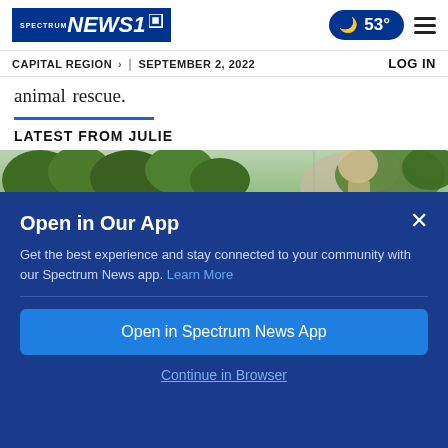Spectrum NEWS1 | CAPITAL REGION > | SEPTEMBER 2, 2022 | LOG IN | 53°
animal rescue.
LATEST FROM JULIE
[Figure (photo): Outdoor scene with trees and a person with light hair, partially visible]
Open in Our App
Get the best experience and stay connected to your community with our Spectrum News app. Learn More
Open in Spectrum News App
Continue in Browser